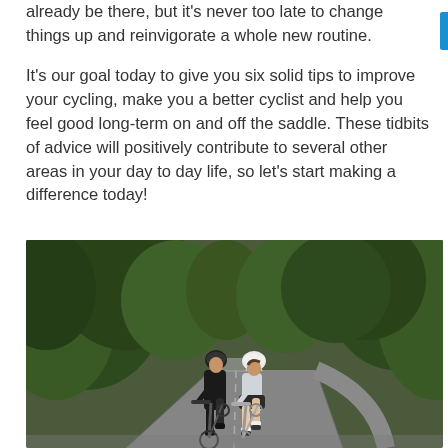already be there, but it's never too late to change things up and reinvigorate a whole new routine.
It's our goal today to give you six solid tips to improve your cycling, make you a better cyclist and help you feel good long-term on and off the saddle. These tidbits of advice will positively contribute to several other areas in your day to day life, so let's start making a difference today!
[Figure (photo): Two cyclists riding road bikes side by side on a tree-lined road. The cyclist on the left wears a black helmet and black kit; the one on the right wears a white helmet and light grey jersey. The road curves away into a green forest tunnel.]